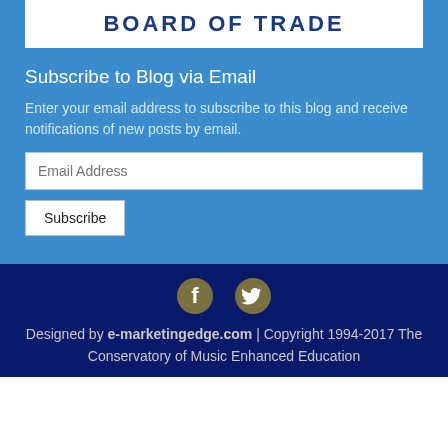[Figure (logo): Board of Trade logo text on white background]
Subscribe to Blog via Email
Enter your email address to subscribe to this blog and receive notifications of new posts by email.
Email Address (input field)
Subscribe (button)
[Figure (other): Facebook and Twitter social media icons]
Designed by e-marketingedge.com | Copyright 1994-2017 The Conservatory of Music Enhanced Education